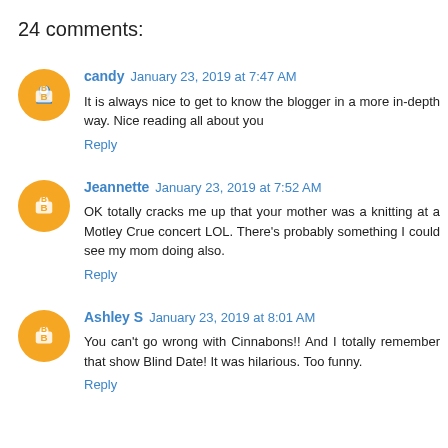24 comments:
candy January 23, 2019 at 7:47 AM
It is always nice to get to know the blogger in a more in-depth way. Nice reading all about you
Reply
Jeannette January 23, 2019 at 7:52 AM
OK totally cracks me up that your mother was a knitting at a Motley Crue concert LOL. There's probably something I could see my mom doing also.
Reply
Ashley S January 23, 2019 at 8:01 AM
You can't go wrong with Cinnabons!! And I totally remember that show Blind Date! It was hilarious. Too funny.
Reply